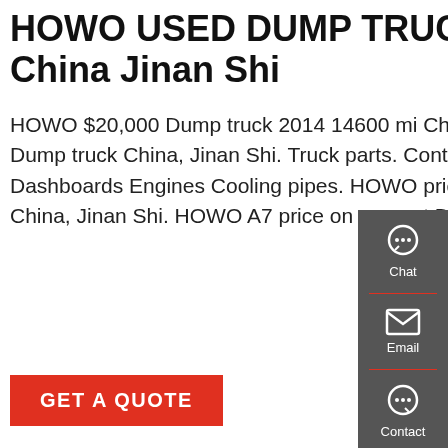HOWO USED DUMP TRUCK Dump Truck For Sale China Jinan Shi
HOWO $20,000 Dump truck 2014 14600 mi China, Jinan Shi. HOWO price on request Dump truck China, Jinan Shi. Truck parts. Control units Front fascias Gearboxes Dashboards Engines Cooling pipes. HOWO price on request Dump truck 2017 18640 mi China, Jinan Shi. HOWO A7 price on request Dump truck 375 HP China, Jinan Shi.
[Figure (other): GET A QUOTE button (red)]
[Figure (photo): Green HOWO dump truck on display at exhibition hall, with red truck visible in background]